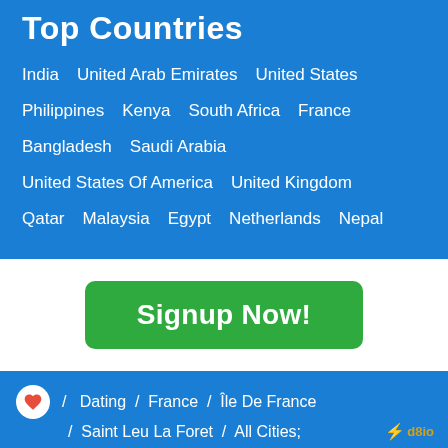Top Countries
India
United Arab Emirates
United States
Philippines
Kenya
South Africa
France
Bangladesh
Saudi Arabia
United States Of America
United Kingdom
Qatar
Malaysia
Egypt
Netherlands
Nepal
Signup Now!
/ Dating / France / Île De France / Saint Leu La Foret / All Cities;